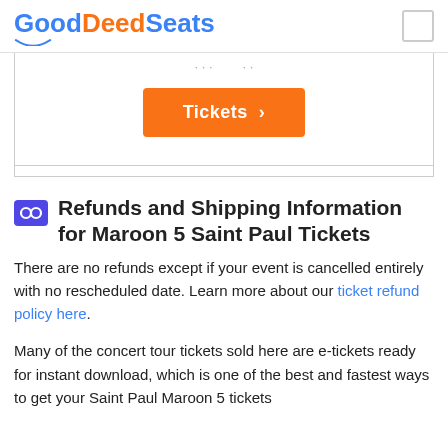GoodDeedSeats
[Figure (other): Tickets button card with orange Tickets > button]
Refunds and Shipping Information for Maroon 5 Saint Paul Tickets
There are no refunds except if your event is cancelled entirely with no rescheduled date. Learn more about our ticket refund policy here.
Many of the concert tour tickets sold here are e-tickets ready for instant download, which is one of the best and fastest ways to get your Saint Paul Maroon 5 tickets